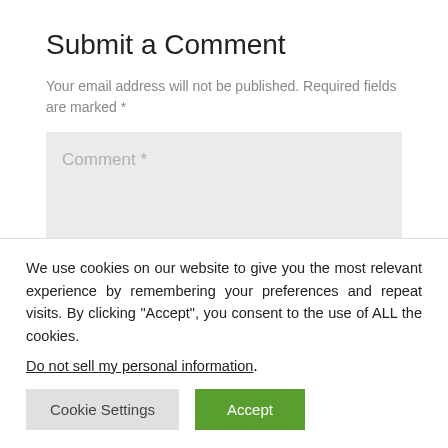Submit a Comment
Your email address will not be published. Required fields are marked *
Comment *
We use cookies on our website to give you the most relevant experience by remembering your preferences and repeat visits. By clicking “Accept”, you consent to the use of ALL the cookies.
Do not sell my personal information.
Cookie Settings
Accept